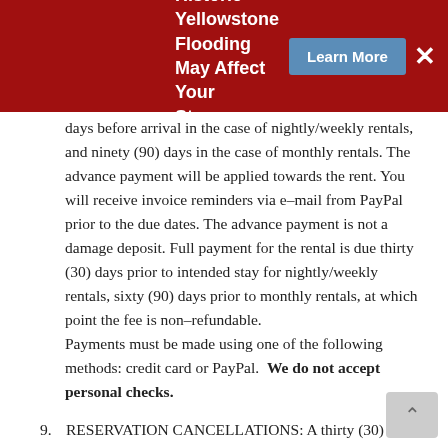Historic Yellowstone Flooding May Affect Your Stay | Learn More | X
days before arrival in the case of nightly/weekly rentals, and ninety (90) days in the case of monthly rentals. The advance payment will be applied towards the rent. You will receive invoice reminders via e-mail from PayPal prior to the due dates. The advance payment is not a damage deposit. Full payment for the rental is due thirty (30) days prior to intended stay for nightly/weekly rentals, sixty (90) days prior to monthly rentals, at which point the fee is non-refundable.
Payments must be made using one of the following methods: credit card or PayPal.  We do not accept personal checks.
9. RESERVATION CANCELLATIONS: A thirty (30) day notice is required for cancellation of nightly/weekly rentals. Should a guest decide to cancel prior to